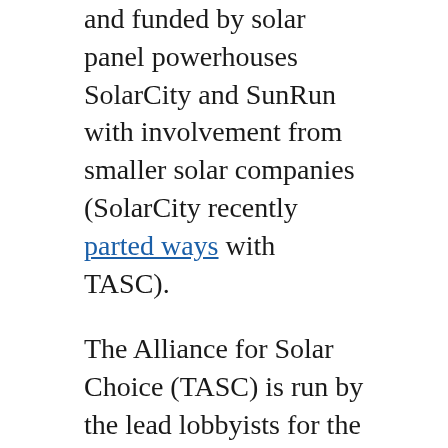and funded by solar panel powerhouses SolarCity and SunRun with involvement from smaller solar companies (SolarCity recently parted ways with TASC).
The Alliance for Solar Choice (TASC) is run by the lead lobbyists for the two big companies – both have obvious Democrat Party connections.
Bryan Miller is Senior Vice President, Public Policy & Power Markets at Sunrun (a position he took in January 2013) and is President and co-chair of TASC (May 2013). His LinkedIn page shows that he's worked for the National Finance Committee for Obama for America and